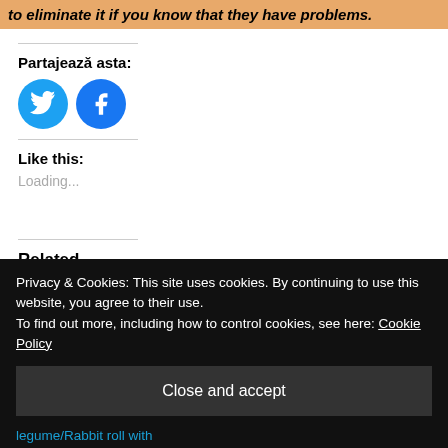to eliminate it if you know that they have problems.
Partajează asta:
[Figure (illustration): Twitter and Facebook social share circular icon buttons in blue]
Like this:
Loading...
Related
Related partial link text (partially visible)
Privacy & Cookies: This site uses cookies. By continuing to use this website, you agree to their use. To find out more, including how to control cookies, see here: Cookie Policy
Close and accept
legume/Rabbit roll with